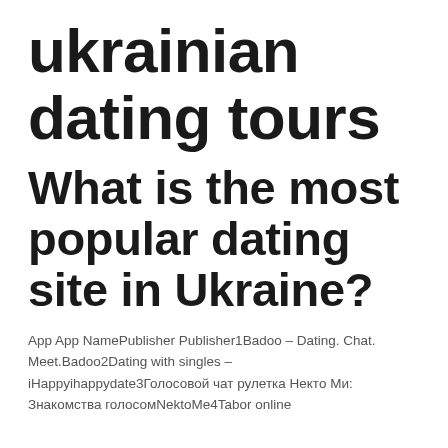ukrainian dating tours
What is the most popular dating site in Ukraine?
App App NamePublisher Publisher1Badoo – Dating. Chat. Meet.Badoo2Dating with singles – iHappyihappydate3Голосовой чат рулетка Некто Ми: Знакомства голосомNektoMe4Tabor online